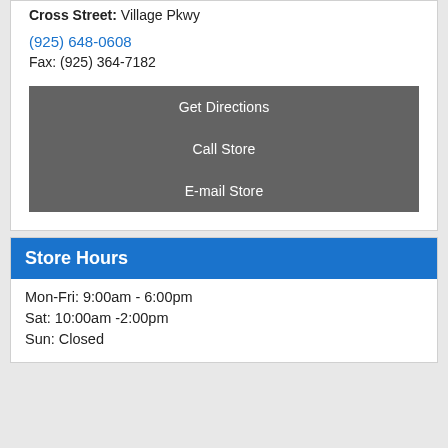Cross Street: Village Pkwy
(925) 648-0608
Fax: (925) 364-7182
Get Directions
Call Store
E-mail Store
Store Hours
Mon-Fri: 9:00am - 6:00pm
Sat: 10:00am -2:00pm
Sun: Closed